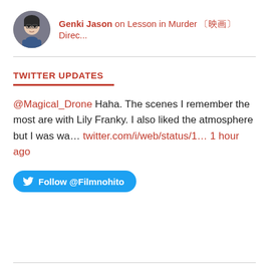[Figure (photo): Circular avatar photo of a person with dark hair and blue scarf]
Genki Jason on Lesson in Murder 〔映画〕 Direc...
TWITTER UPDATES
@Magical_Drone Haha. The scenes I remember the most are with Lily Franky. I also liked the atmosphere but I was wa... twitter.com/i/web/status/1... 1 hour ago
Follow @Filmnohito